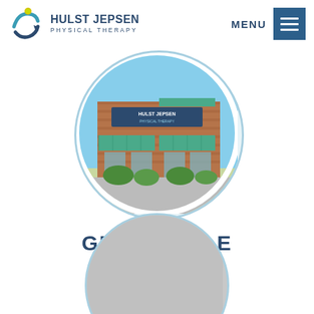HULST JEPSEN PHYSICAL THERAPY — MENU
[Figure (photo): Circular-framed exterior photo of Hulst Jepsen Physical Therapy building — brick facade with teal/green awnings and signage, sunny day with blue sky and green landscaping]
GRANDVILLE
View
[Figure (photo): Partially visible circular-framed photo at bottom of page, appears to show another location exterior]